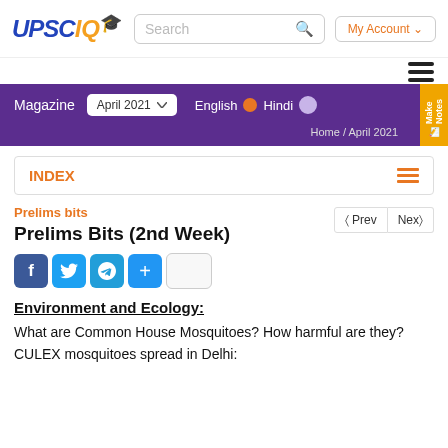[Figure (logo): UPSCIQ logo with graduation cap]
Magazine  April 2021  English  Hindi  Home / April 2021
INDEX
Prelims bits
Prelims Bits (2nd Week)
[Figure (other): Social sharing icons: Facebook, Twitter, Telegram, Share, and an empty box]
Environment and Ecology:
What are Common House Mosquitoes? How harmful are they? CULEX mosquitoes spread in Delhi: